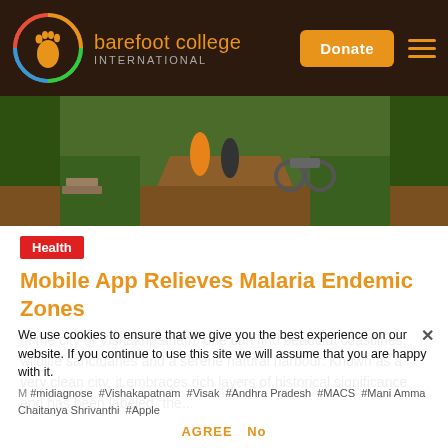[Figure (logo): Barefoot College International logo with colorful circular design and footprint icon]
[Figure (photo): Outdoor photo showing a dirt path in a village setting with people and a motorcycle visible among trees and greenery]
Health
Mobile App Relieves Malaria Endemic Zones
In the city of Vishakhpatnam, one can find beautiful coastlines, wildlife sanctuaries and a serene natural harbour. Known as a very clean city, it embraces rich layers of historical significance and has been labeled “the...
We use cookies to ensure that we give you the best experience on our website. If you continue to use this site we will assume that you are happy with it.
#midiagnose #Vishakapatnam #Visak #Andhra Pradesh #MACS #Mani Amma Chaitanya Shrivanthi #Apple
AGREE  No